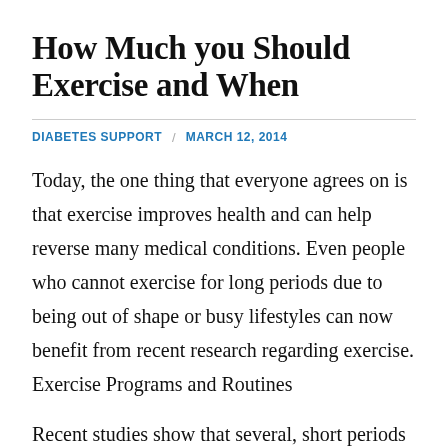How Much you Should Exercise and When
DIABETES SUPPORT / MARCH 12, 2014
Today, the one thing that everyone agrees on is that exercise improves health and can help reverse many medical conditions. Even people who cannot exercise for long periods due to being out of shape or busy lifestyles can now benefit from recent research regarding exercise.
Exercise Programs and Routines
Recent studies show that several, short periods of